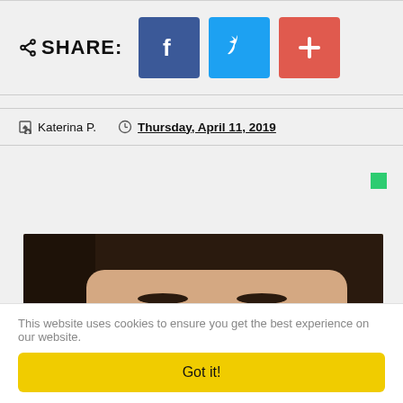SHARE: [Facebook] [Twitter] [+]
Katerina P.  Thursday, April 11, 2019
[Figure (photo): Close-up photo of a woman's face with a white face mask applied to her nose area]
This website uses cookies to ensure you get the best experience on our website.
Got it!